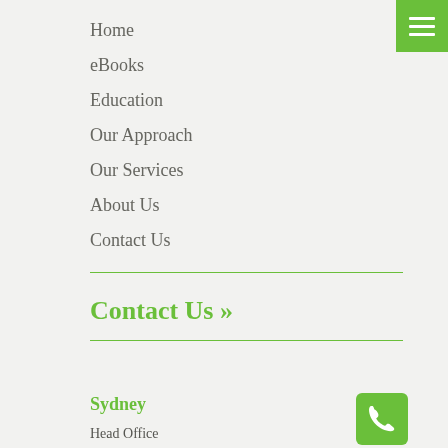Home
eBooks
Education
Our Approach
Our Services
About Us
Contact Us
Contact Us »
Sydney
Head Office
Level 5, 95 Pitt St
Sydney NSW 2000
T 02 9248 0422